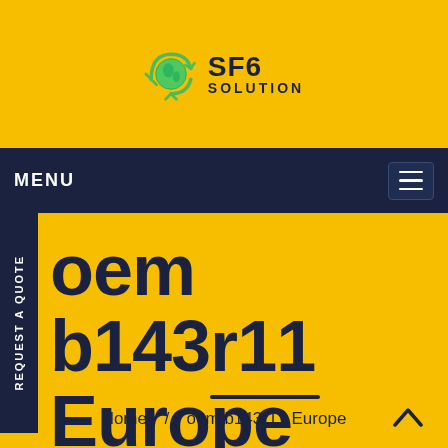[Figure (logo): SF6 Solution logo with green recycling globe icon and bold dark text 'SF6 SOLUTION']
MENU
oem b143r11 Europe
Home / oem b143r11 Europe